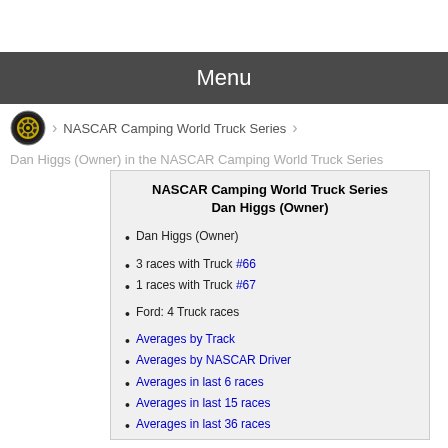Menu
NASCAR Camping World Truck Series
Dan Higgs (Owner) in the NASCAR Camping World Truck Series
NASCAR Camping World Truck Series
Dan Higgs (Owner)
Dan Higgs (Owner)
3 races with Truck #66
1 races with Truck #67
Ford: 4 Truck races
Averages by Track
Averages by NASCAR Driver
Averages in last 6 races
Averages in last 15 races
Averages in last 36 races
NASCAR Stage Points
NASCAR Averages Database
NASCAR Statistics Database
NASCAR Car Numbers